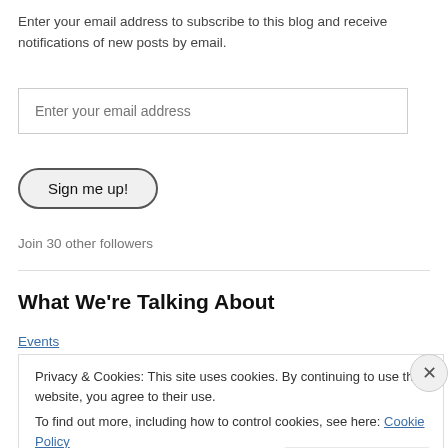Enter your email address to subscribe to this blog and receive notifications of new posts by email.
Enter your email address
Sign me up!
Join 30 other followers
What We're Talking About
Events
Privacy & Cookies: This site uses cookies. By continuing to use this website, you agree to their use.
To find out more, including how to control cookies, see here: Cookie Policy
Close and accept